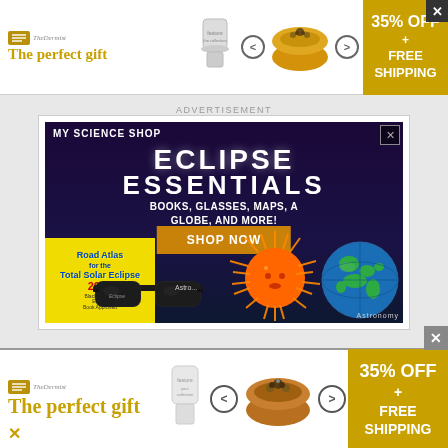[Figure (infographic): Top banner advertisement: 'The perfect gift' with product images, navigation arrows, and '35% OFF + FREE SHIPPING' gold panel. Close X button top right.]
ADVERTISEMENT
[Figure (infographic): My Science Shop advertisement for 'ECLIPSE ESSENTIALS - BOOKS, GLASSES, MAPS, A GLOBE, AND MORE!' with dark purple background, SHOP NOW button, Road Atlas for Total Solar Eclipse 2024 book, eclipse glasses, sun toy, and globe imagery.]
[Figure (infographic): Bottom banner advertisement: 'The perfect gift' with product images, navigation arrows, and '35% OFF + FREE SHIPPING' gold panel. Close X button.]